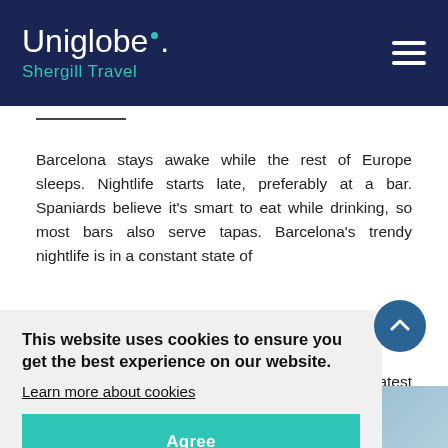Uniglobe. Shergill Travel
Barcelona stays awake while the rest of Europe sleeps. Nightlife starts late, preferably at a bar. Spaniards believe it's smart to eat while drinking, so most bars also serve tapas. Barcelona's trendy nightlife is in a constant state of [flux, always on the look]and for the latest [trends]
This website uses cookies to ensure you get the best experience on our website.
Learn more about cookies
Agree
s and nightclubs
[Figure (photo): Two partial thumbnail images at the bottom of the page]